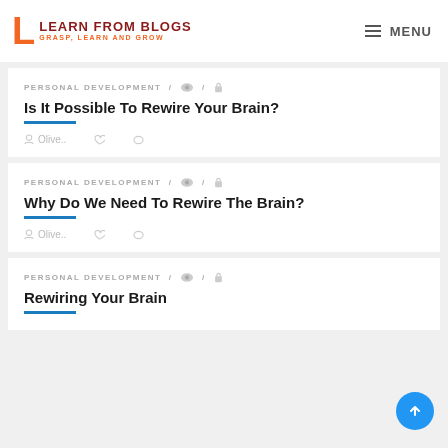LEARN FROM BLOGS – GRASP, LEARN AND GROW / MENU
PERSONAL DEVELOPMENT / 👁 / 🔒
Is It Possible To Rewire Your Brain?
Olive..
PERSONAL DEVELOPMENT / 👁 / 🔒
Why Do We Need To Rewire The Brain?
Olive..
PERSONAL DEVELOPMENT / 👁 / 🔒
Rewiring Your Brain